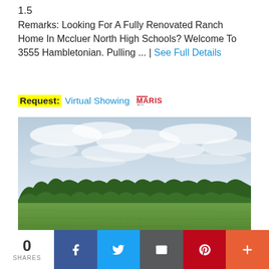1.5
Remarks: Looking For A Fully Renovated Ranch Home In Mccluer North High Schools? Welcome To 3555 Hambletonian. Pulling ... | See Full Details
Request: Virtual Showing MARIS MLS
[Figure (photo): Landscape photo showing a large open green grass field under a wide cloudy sky, with a line of green trees along the horizon in the middle distance.]
0 SHARES
Facebook share button
Twitter share button
Email share button
Pinterest share button
More share button